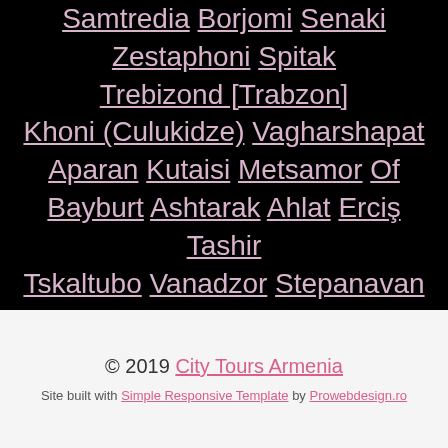Samtredia | Borjomi | Senaki | Zestaphoni | Spitak | Trebizond [Trabzon] | Khoni (Culukidze) | Vagharshapat | Aparan | Kutaisi | Metsamor | Of | Bayburt | Ashtarak | Ahlat | Erciş | Tashir | Tskaltubo | Vanadzor | Stepanavan | Yeghvard | Doğubayazıt
© 2019 City Tours Armenia — Site built with Simple Responsive Template by Prowebdesign.ro